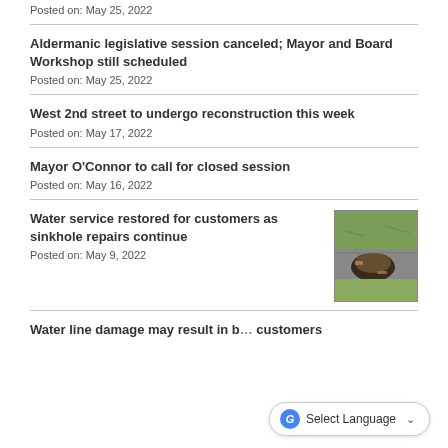Posted on: May 25, 2022
Aldermanic legislative session canceled; Mayor and Board Workshop still scheduled
Posted on: May 25, 2022
West 2nd street to undergo reconstruction this week
Posted on: May 17, 2022
Mayor O'Connor to call for closed session
Posted on: May 16, 2022
Water service restored for customers as sinkhole repairs continue
Posted on: May 9, 2022
[Figure (photo): Aerial or ground-level photo of a sinkhole with road damage and surrounding green grass area]
Water line damage may result in b... customers